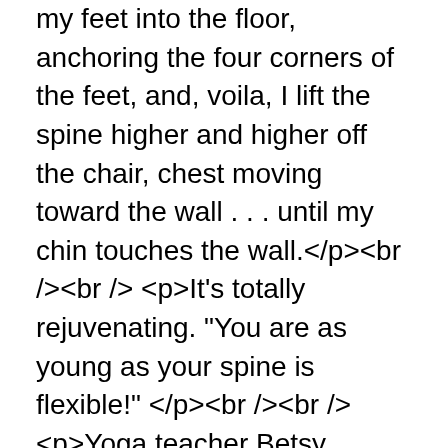my feet into the floor, anchoring the four corners of the feet, and, voila, I lift the spine higher and higher off the chair, chest moving toward the wall . . . until my chin touches the wall.</p><br /><br /> <p>It's totally rejuvenating. "You are as young as your spine is flexible!" </p><br /><br /> <p>Yoga teacher Betsy MacKinnon writes: "I love this supported backbend too and it is still totally accessible at 68. Some people need to support the head though. Mr Iyengar says we need more backbends with long holdings at this time of life and from now on." </p><br /><br /> <p>Click here for Yoga with a Chair: http://www.amazon.com/Chair-Yoga-complete-Iyengar-practice/dp/1495296857</p><br /><br /> <p>* * *<br /><br /><br /> February 17, 2014<br /><br /><br /> First yoga practice inside my new hippie writing yoga pad, which is about the same amount of space as a "Tiny House." With two dogs, a cat and her deluxe cat carrier, to make space